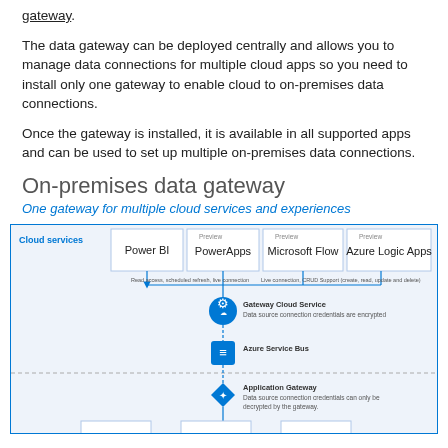gateway.
The data gateway can be deployed centrally and allows you to manage data connections for multiple cloud apps so you need to install only one gateway to enable cloud to on-premises data connections.
Once the gateway is installed, it is available in all supported apps and can be used to set up multiple on-premises data connections.
On-premises data gateway
One gateway for multiple cloud services and experiences
[Figure (infographic): Diagram showing On-premises data gateway architecture with Cloud services (Power BI, PowerApps, Microsoft Flow, Azure Logic Apps) at top, connecting via arrows to Gateway Cloud Service, then Azure Service Bus, then Application Gateway, with a dashed line separating cloud from on-premises sections.]